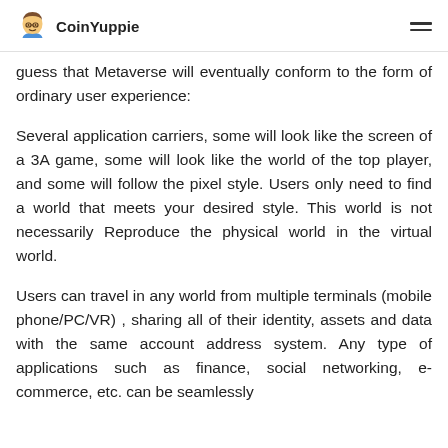CoinYuppie
guess that Metaverse will eventually conform to the form of ordinary user experience:
Several application carriers, some will look like the screen of a 3A game, some will look like the world of the top player, and some will follow the pixel style. Users only need to find a world that meets your desired style. This world is not necessarily Reproduce the physical world in the virtual world.
Users can travel in any world from multiple terminals (mobile phone/PC/VR) , sharing all of their identity, assets and data with the same account address system. Any type of applications such as finance, social networking, e-commerce, etc. can be seamlessly